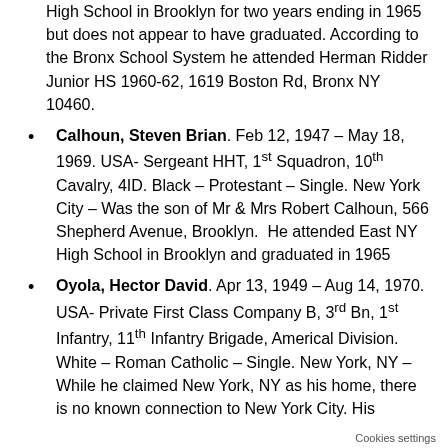High School in Brooklyn for two years ending in 1965 but does not appear to have graduated. According to the Bronx School System he attended Herman Ridder Junior HS 1960-62, 1619 Boston Rd, Bronx NY 10460.
Calhoun, Steven Brian. Feb 12, 1947 – May 18, 1969. USA- Sergeant HHT, 1st Squadron, 10th Cavalry, 4ID. Black – Protestant – Single. New York City – Was the son of Mr & Mrs Robert Calhoun, 566 Shepherd Avenue, Brooklyn. He attended East NY High School in Brooklyn and graduated in 1965
Oyola, Hector David. Apr 13, 1949 – Aug 14, 1970. USA- Private First Class Company B, 3rd Bn, 1st Infantry, 11th Infantry Brigade, Americal Division. White – Roman Catholic – Single. New York, NY – While he claimed New York, NY as his home, there is no known connection to New York City. His
Cookies settings